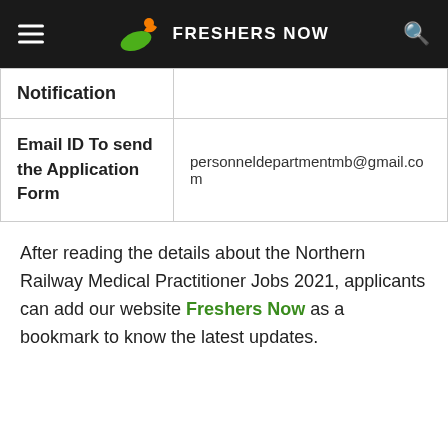FRESHERS NOW
| Notification |  |
| Email ID To send the Application Form | personneldepartmentmb@gmail.com |
After reading the details about the Northern Railway Medical Practitioner Jobs 2021, applicants can add our website Freshers Now as a bookmark to know the latest updates.